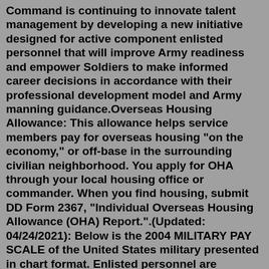Command is continuing to innovate talent management by developing a new initiative designed for active component enlisted personnel that will improve Army readiness and empower Soldiers to make informed career decisions in accordance with their professional development model and Army manning guidance.Overseas Housing Allowance: This allowance helps service members pay for overseas housing "on the economy," or off-base in the surrounding civilian neighborhood. You apply for OHA through your local housing office or commander. When you find housing, submit DD Form 2367, "Individual Overseas Housing Allowance (OHA) Report.".(Updated: 04/24/2021): Below is the 2004 MILITARY PAY SCALE of the United States military presented in chart format. Enlisted personnel are displayed as E-1 to E-9.For those service branches recognizing a Warrant Officer rank, 'W' grades range from W-1 to W-5.Likewise Officers are scaled from O-1 to O-10.For those grades showcasing symbols *,